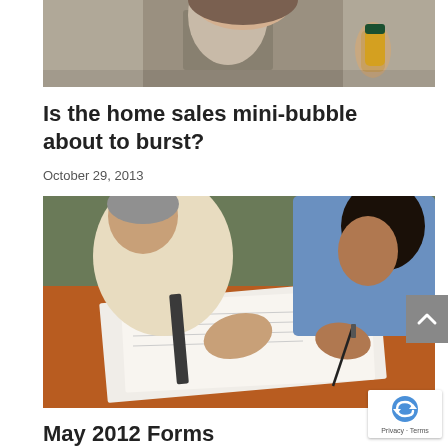[Figure (photo): Partial photo of a woman in a grey knit top, appears to be looking at something, holding a yellow container — cropped at top of page]
Is the home sales mini-bubble about to burst?
October 29, 2013
[Figure (photo): Two men leaning over a desk reviewing documents/papers on a wooden table, one in a cream shirt and one in a blue shirt]
May 2012 Forms